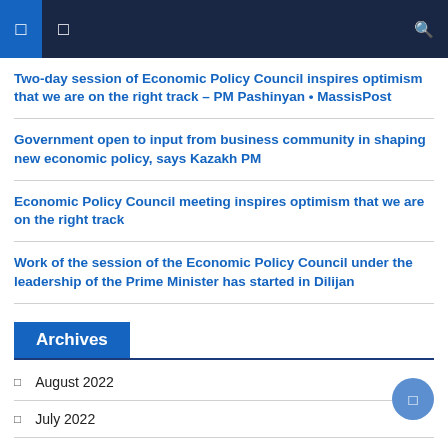Navigation bar with menu icons and search
Two-day session of Economic Policy Council inspires optimism that we are on the right track – PM Pashinyan • MassisPost
Government open to input from business community in shaping new economic policy, says Kazakh PM
Economic Policy Council meeting inspires optimism that we are on the right track
Work of the session of the Economic Policy Council under the leadership of the Prime Minister has started in Dilijan
Archives
August 2022
July 2022